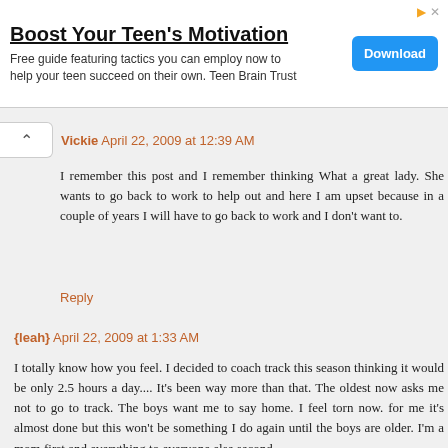[Figure (infographic): Advertisement banner for 'Boost Your Teen's Motivation' with a Download button]
Vickie  April 22, 2009 at 12:39 AM
I remember this post and I remember thinking What a great lady. She wants to go back to work to help out and here I am upset because in a couple of years I will have to go back to work and I don't want to.
Reply
{leah}  April 22, 2009 at 1:33 AM
I totally know how you feel. I decided to coach track this season thinking it would be only 2.5 hours a day.... It's been way more than that. The oldest now asks me not to go to track. The boys want me to say home. I feel torn now. for me it's almost done but this won't be something I do again until the boys are older. I'm a mom first and everything to everyone else second.